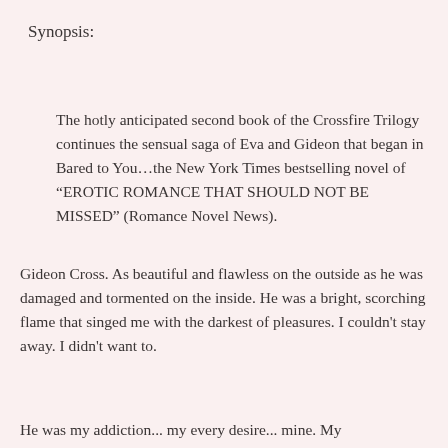Synopsis:
The hotly anticipated second book of the Crossfire Trilogy continues the sensual saga of Eva and Gideon that began in Bared to You…the New York Times bestselling novel of “EROTIC ROMANCE THAT SHOULD NOT BE MISSED” (Romance Novel News).
Gideon Cross. As beautiful and flawless on the outside as he was damaged and tormented on the inside. He was a bright, scorching flame that singed me with the darkest of pleasures. I couldn't stay away. I didn't want to.
He was my addiction... my every desire... mine. My